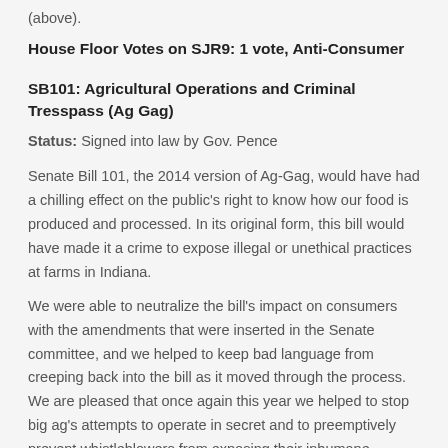(above).
House Floor Votes on SJR9: 1 vote, Anti-Consumer
SB101: Agricultural Operations and Criminal Tresspass (Ag Gag)
Status: Signed into law by Gov. Pence
Senate Bill 101, the 2014 version of Ag-Gag, would have had a chilling effect on the public's right to know how our food is produced and processed. In its original form, this bill would have made it a crime to expose illegal or unethical practices at farms in Indiana.
We were able to neutralize the bill's impact on consumers with the amendments that were inserted in the Senate committee, and we helped to keep bad language from creeping back into the bill as it moved through the process. We are pleased that once again this year we helped to stop big ag's attempts to operate in secret and to preemptively prevent whistleblowers from exposing their inhumane